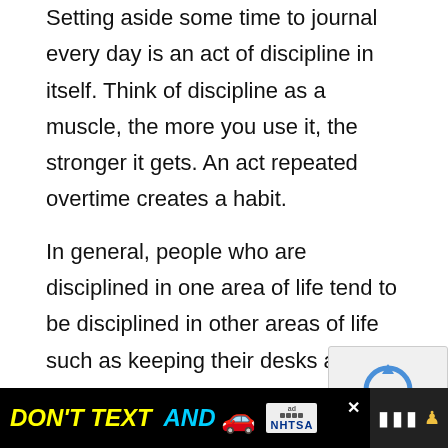Setting aside some time to journal every day is an act of discipline in itself. Think of discipline as a muscle, the more you use it, the stronger it gets. An act repeated overtime creates a habit.
In general, people who are disciplined in one area of life tend to be disciplined in other areas of life such as keeping their desks and houses tidy and working hard to accomplish the days' objectives. In order to experience success, you've got to stay disciplined and consiste...
As you've seen, journaling has several proven benefits that you can't ignore. You need to start journaling if you haven't started. You have to be patient and consistent with
[Figure (other): reCAPTCHA widget overlay showing spinning arrows icon with Privacy and Terms links]
[Figure (infographic): Black advertisement banner reading DON'T TEXT AND with car emoji and NHTSA logo, with close button and right side icons]